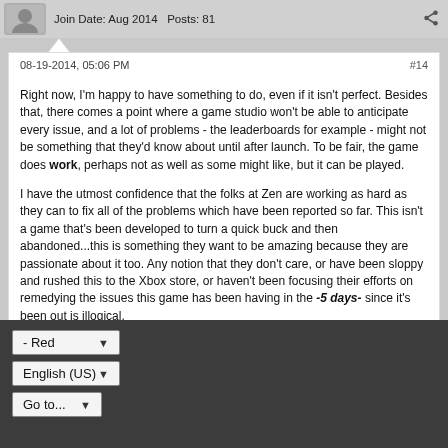Join Date: Aug 2014   Posts: 81
08-19-2014, 05:06 PM
#14
Right now, I'm happy to have something to do, even if it isn't perfect. Besides that, there comes a point where a game studio won't be able to anticipate every issue, and a lot of problems - the leaderboards for example - might not be something that they'd know about until after launch. To be fair, the game does work, perhaps not as well as some might like, but it can be played.
I have the utmost confidence that the folks at Zen are working as hard as they can to fix all of the problems which have been reported so far. This isn't a game that's been developed to turn a quick buck and then abandoned...this is something they want to be amazing because they are passionate about it too. Any notion that they don't care, or have been sloppy and rushed this to the Xbox store, or haven't been focusing their efforts on remedying the issues this game has been having in the -5 days- since it's been out is illogical.
- Red
English (US)
Go to...